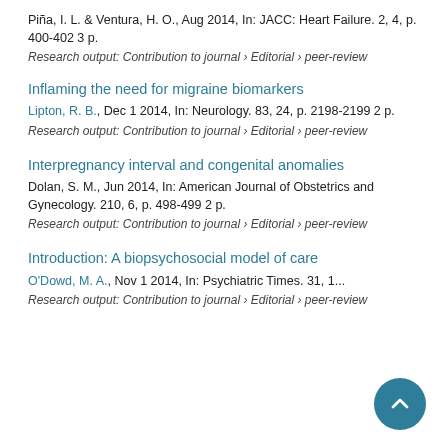Piña, I. L. & Ventura, H. O., Aug 2014, In: JACC: Heart Failure. 2, 4, p. 400-402 3 p.
Research output: Contribution to journal › Editorial › peer-review
Inflaming the need for migraine biomarkers
Lipton, R. B., Dec 1 2014, In: Neurology. 83, 24, p. 2198-2199 2 p.
Research output: Contribution to journal › Editorial › peer-review
Interpregnancy interval and congenital anomalies
Dolan, S. M., Jun 2014, In: American Journal of Obstetrics and Gynecology. 210, 6, p. 498-499 2 p.
Research output: Contribution to journal › Editorial › peer-review
Introduction: A biopsychosocial model of care
O'Dowd, M. A., Nov 1 2014, In: Psychiatric Times. 31, 1...
Research output: Contribution to journal › Editorial › peer-review